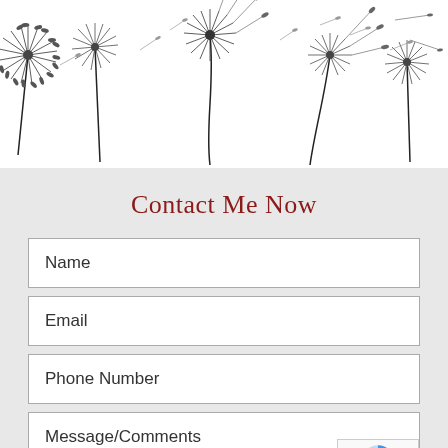[Figure (illustration): Decorative header banner with black and white dandelion illustrations, some with seeds floating in the wind, on a white background.]
Contact Me Now
Name
Email
Phone Number
Message/Comments